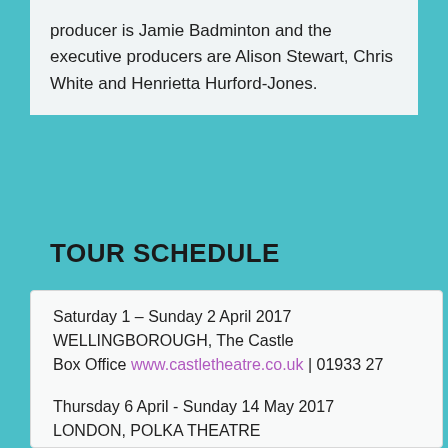producer is Jamie Badminton and the executive producers are Alison Stewart, Chris White and Henrietta Hurford-Jones.
TOUR SCHEDULE
Saturday 1 – Sunday 2 April 2017
WELLINGBOROUGH, The Castle
Box Office www.castletheatre.co.uk | 01933 27
Thursday 6 April - Sunday 14 May 2017
LONDON, POLKA THEATRE
Press performance: Saturday 8 April, 1.30pm
Box Office www.polkatheatre.com | 020 8543 4
Monday 29 May 2017
EASTBOURNE Hippodrome
Box Office www... | 01323